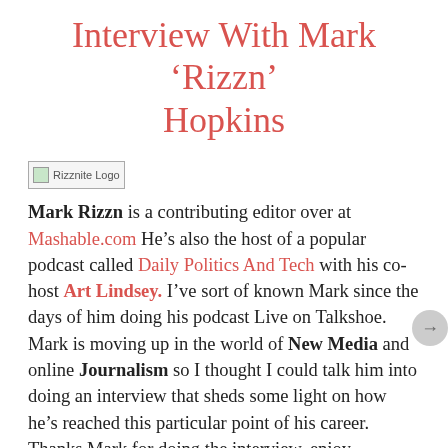Interview With Mark ‘Rizzn’ Hopkins
[Figure (logo): Rizznite Logo placeholder image]
Mark Rizzn is a contributing editor over at Mashable.com He’s also the host of a popular podcast called Daily Politics And Tech with his co-host Art Lindsey. I’ve sort of known Mark since the days of him doing his podcast Live on Talkshoe. Mark is moving up in the world of New Media and online Journalism so I thought I could talk him into doing an interview that sheds some light on how he’s reached this particular point of his career. Thanks Mark for doing the interview, enjoy.